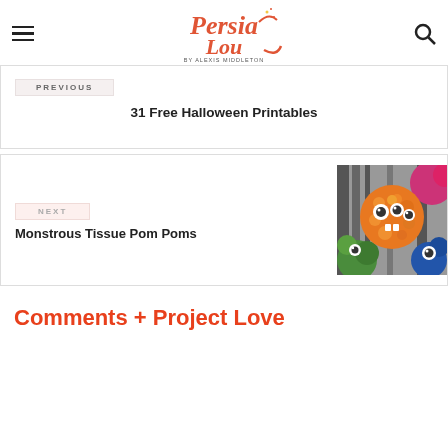Persia Lou by Alexis Middleton
PREVIOUS
31 Free Halloween Printables
NEXT
Monstrous Tissue Pom Poms
[Figure (photo): Colorful monster tissue pom poms with googly eyes]
Comments + Project Love